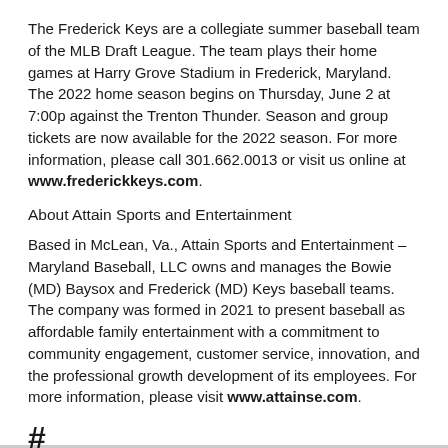The Frederick Keys are a collegiate summer baseball team of the MLB Draft League. The team plays their home games at Harry Grove Stadium in Frederick, Maryland. The 2022 home season begins on Thursday, June 2 at 7:00p against the Trenton Thunder. Season and group tickets are now available for the 2022 season. For more information, please call 301.662.0013 or visit us online at www.frederickkeys.com.
About Attain Sports and Entertainment
Based in McLean, Va., Attain Sports and Entertainment – Maryland Baseball, LLC owns and manages the Bowie (MD) Baysox and Frederick (MD) Keys baseball teams. The company was formed in 2021 to present baseball as affordable family entertainment with a commitment to community engagement, customer service, innovation, and the professional growth development of its employees. For more information, please visit www.attainse.com.
#